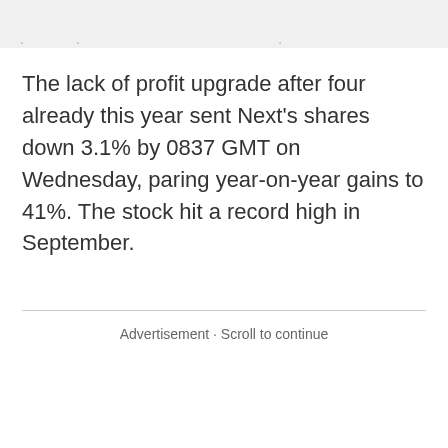The lack of profit upgrade after four already this year sent Next's shares down 3.1% by 0837 GMT on Wednesday, paring year-on-year gains to 41%. The stock hit a record high in September.
Advertisement · Scroll to continue